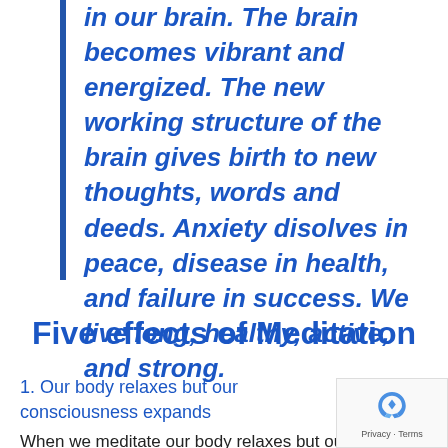in our brain. The brain becomes vibrant and energized. The new working structure of the brain gives birth to new thoughts, words and deeds. Anxiety disolves in peace, disease in health, and failure in success. We live long, healthy, active, and strong.
Five effects of Meditation
1. Our body relaxes but our consciousness expands
When we meditate our body relaxes but our mind remains